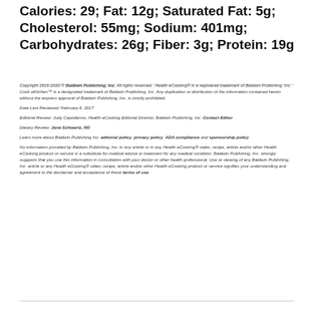Calories: 29; Fat: 12g; Saturated Fat: 5g; Cholesterol: 55mg; Sodium: 401mg; Carbohydrates: 26g; Fiber: 3g; Protein: 19g
Copyright 2016-2020 © Baldwin Publishing, Inc. All rights reserved. Health eCooking® is a registered trademark of Baldwin Publishing, Inc. Cook eKitchen™ is a designated trademark of Baldwin Publishing, Inc. Any duplication or distribution of the information contained herein without the express approval of Baldwin Publishing, Inc. is strictly prohibited.
Date Last Reviewed: February 6, 2017
Editorial Review: Judy Capodanno, Health eCooking Editorial Director, Baldwin Publishing, Inc. Contact Editor
Dietary Review: Jane Schwartz, RD
Learn more about Baldwin Publishing Inc. editorial policy, privacy policy, ADA compliance and sponsorship policy.
No information provided by Baldwin Publishing, Inc. in any article or in any Health eCooking® video, recipe, article and/or other Health eCooking product or service is a substitute for medical advice or treatment for any medical condition. Baldwin Publishing, Inc. strongly suggests that you use this information in consultation with your doctor or other health professional. Use or viewing of any Baldwin Publishing, Inc. article or any Health eCooking® video, recipe, article and/or other Health eCooking product or service signifies your understanding and agreement to the disclaimer and acceptance of these terms of use.